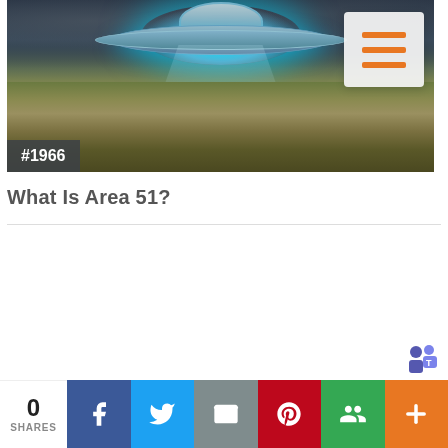[Figure (photo): UFO/flying saucer hovering over a rural field at night with dramatic lighting and a teal glow. Badge '#1966' shown in lower left. Hamburger menu button in upper right.]
What Is Area 51?
[Figure (screenshot): Microsoft Teams icon (purple/blue stylized T with people silhouette)]
[Figure (infographic): Social share bar with count '0 SHARES' and buttons for Facebook, Twitter, Email, Pinterest, Google+, and more]